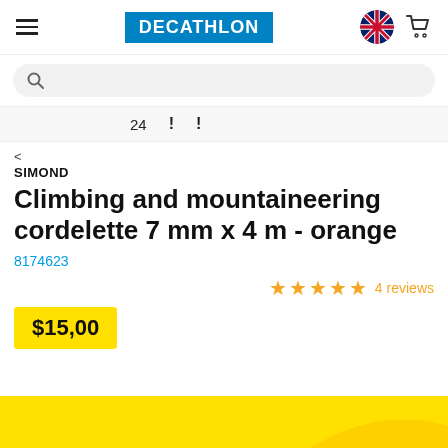DECATHLON
24 ! !
<
SIMOND
Climbing and mountaineering cordelette 7 mm x 4 m - orange
8174623
★★★★★ 4 reviews
$15,00